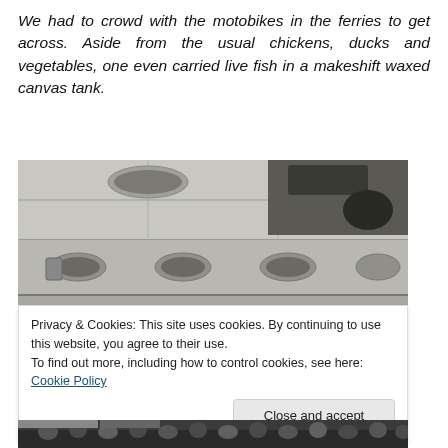We had to crowd with the motobikes in the ferries to get across. Aside from the usual chickens, ducks and vegetables, one even carried live fish in a makeshift waxed canvas tank.
[Figure (photo): Close-up photo of what appears to be the underside of a ferry or boat deck, showing panels, bolts and dark mechanical components against a light grey background.]
Privacy & Cookies: This site uses cookies. By continuing to use this website, you agree to their use.
To find out more, including how to control cookies, see here: Cookie Policy
[Figure (photo): Partial view of a crowd scene, dark photo showing people.]